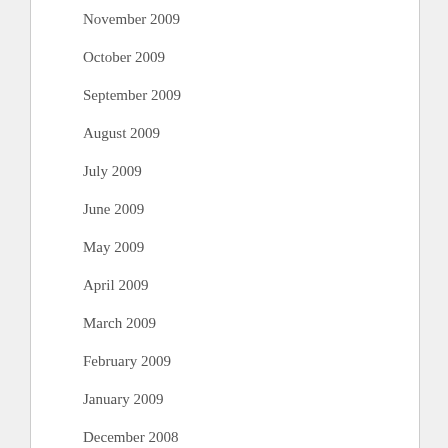November 2009
October 2009
September 2009
August 2009
July 2009
June 2009
May 2009
April 2009
March 2009
February 2009
January 2009
December 2008
November 2008
October 2008
September 2008
July 2008